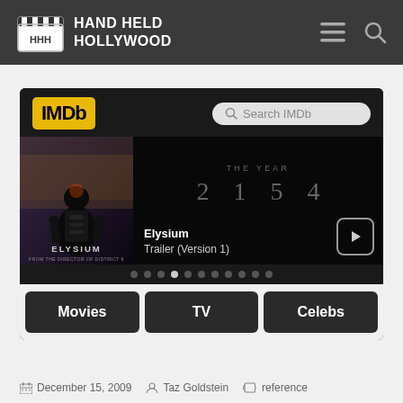HAND HELD HOLLYWOOD
[Figure (screenshot): IMDb mobile app screenshot showing Elysium trailer with movie poster, year 2154, Movies/TV/Celebs navigation buttons, and search bar]
December 15, 2009  Taz Goldstein  reference